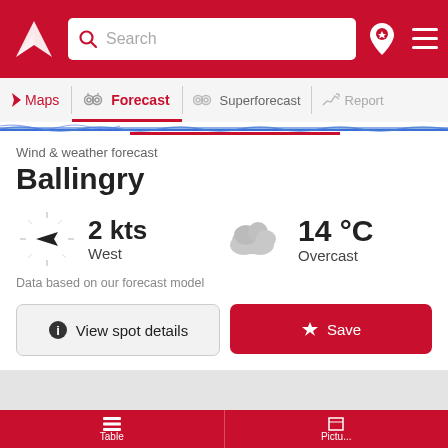[Figure (screenshot): Red top navigation bar with Windy app logo, search box, location pin icon, and hamburger menu]
Maps | Forecast | Superforecast | Report
Wind & weather forecast
Ballingry
2 kts West
14 °C Overcast
Data based on our forecast model
View spot details
Save
[Figure (map): Gray map area showing terrain]
Table | Pictu...